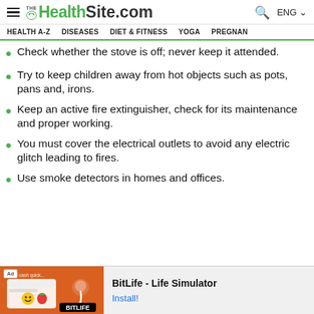THE HealthSite.com — ENG
HEALTH A-Z   DISEASES   DIET & FITNESS   YOGA   PREGNAN
Check whether the stove is off; never keep it attended.
Try to keep children away from hot objects such as pots, pans and, irons.
Keep an active fire extinguisher, check for its maintenance and proper working.
You must cover the electrical outlets to avoid any electric glitch leading to fires.
Use smoke detectors in homes and offices.
[Figure (screenshot): Ad banner for BitLife - Life Simulator app with Install button]